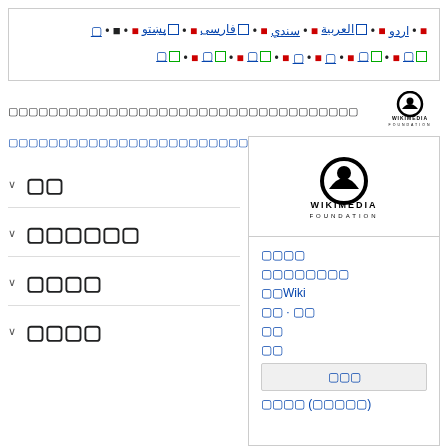• اردو • العربية ⊞ • سندي • فارسى ⊞ • پښتو ⊞ • [text] • [text] ⊞ • [text] ⊞ • [text] • [text] • [text] ⊞ • [text] ⊞ • [text] ⊞
[Figure (logo): Wikimedia Foundation logo with text]
Navigation links and topic text in non-Latin script
[Figure (logo): Large Wikimedia Foundation logo in right panel]
Right panel links in non-Latin script and Wiki links
▾ [non-Latin text section header]
▾ [non-Latin text section header]
▾ [non-Latin text section header]
▾ [non-Latin text section header]